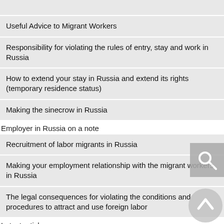Useful Advice to Migrant Workers
Responsibility for violating the rules of entry, stay and work in Russia
How to extend your stay in Russia and extend its rights (temporary residence status)
Making the sinecrow in Russia
Employer in Russia on a note
Recruitment of labor migrants in Russia
Making your employment relationship with the migrant workers in Russia
The legal consequences for violating the conditions and procedures to attract and use foreign labor
Latest articles
Human trafficking - slavery XXI century
Searching for citizens abroad
List of foreign missions of the Russian Federation
List of Government Agencies Designed to Assist Foreign Nationals
Typical evidence that should alert when applying for a job abroad